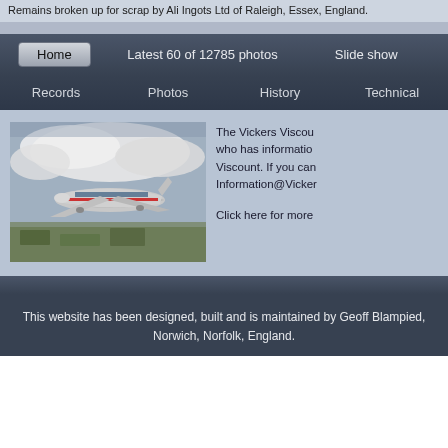Remains broken up for scrap by Ali Ingots Ltd of Raleigh, Essex, England.
Home | Latest 60 of 12785 photos | Slide show | Records | Photos | History | Technical
[Figure (photo): A Vickers Viscount aircraft in flight above clouds and landscape, in BEA livery with red and silver markings.]
The Vickers Viscount who has information Viscount. If you can Information@Vicker
Click here for more
This website has been designed, built and is maintained by Geoff Blampied, Norwich, Norfolk, England.